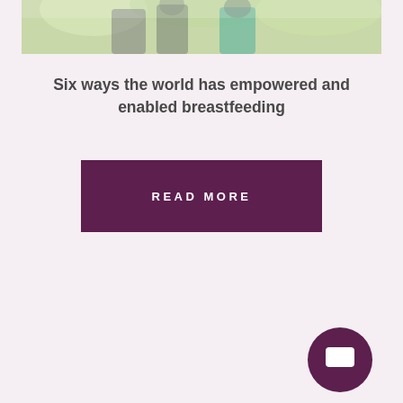[Figure (photo): Top portion of photo showing people outdoors, partial torsos visible with trees in background]
Six ways the world has empowered and enabled breastfeeding
READ MORE
[Figure (other): Light pink card section at bottom of page with a dark purple circular chat/message button in the lower right corner]